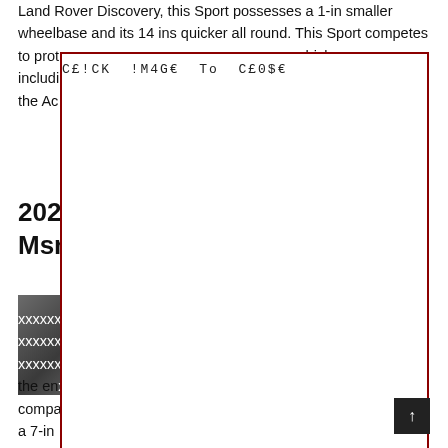Land Rover Discovery, this Sport possesses a 1-in smaller wheelbase and its 14 ins quicker all round. This Sport competes to prot... hicles includi... ell as the Ac...
[Figure (screenshot): Modal overlay popup with text 'CEICK IM4GE To CE0$E' on a white background with dark red border]
202... rt Msr...
[Figure (photo): Small photo of a car in a forested area, dark tones]
...ar be the en... compa... sses a 7-in... s Sport competes in opposition to additional portable Sports utility vehicles such as Mercedes-Benz GLC class, this BMW X3 as